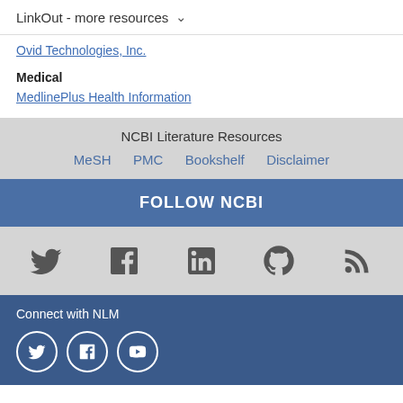LinkOut - more resources ∨
Ovid Technologies, Inc.
Medical
MedlinePlus Health Information
NCBI Literature Resources
MeSH   PMC   Bookshelf   Disclaimer
FOLLOW NCBI
[Figure (other): Social media icons: Twitter, Facebook, LinkedIn, GitHub, RSS]
Connect with NLM
[Figure (other): Social media circle icons: Twitter, Facebook, YouTube]